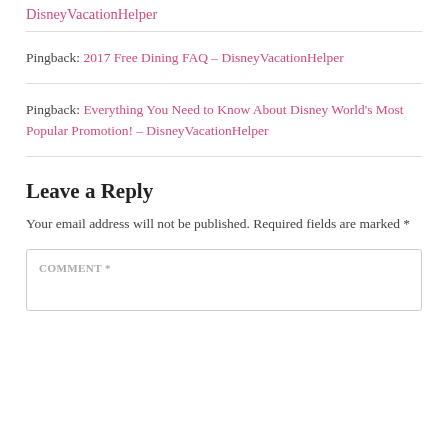DisneyVacationHelper
Pingback: 2017 Free Dining FAQ – DisneyVacationHelper
Pingback: Everything You Need to Know About Disney World's Most Popular Promotion! – DisneyVacationHelper
Leave a Reply
Your email address will not be published. Required fields are marked *
COMMENT *